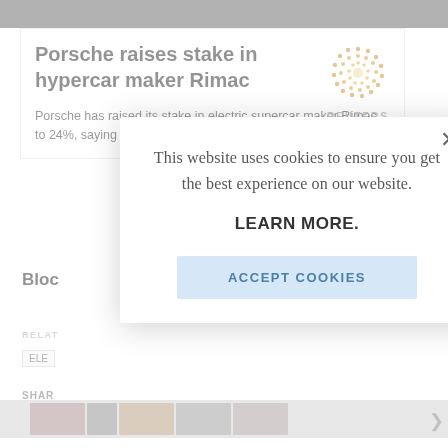[Figure (screenshot): Reuters website article page showing article title 'Porsche raises stake in hypercar maker Rimac' with Reuters logo, article body text beginning 'Porsche has raised its stake in electric supercar maker Rimac to 24%, saying the Croatian firm is be...' and partial UI elements including RELATED, ELE tag, SHARE label, and bottom image strip]
This website uses cookies to ensure you get the best experience on our website.
LEARN MORE.
ACCEPT COOKIES